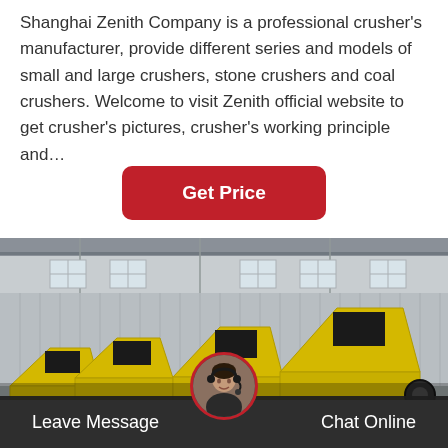Shanghai Zenith Company is a professional crusher's manufacturer, provide different series and models of small and large crushers, stone crushers and coal crushers. Welcome to visit Zenith official website to get crusher's pictures, crusher's working principle and…
[Figure (other): Red rounded rectangle button labeled 'Get Price' in white bold text]
[Figure (photo): Industrial factory photo showing large yellow impact crusher machines lined up inside a warehouse building with grey corrugated metal walls and windows]
[Figure (photo): Circular avatar photo of a woman wearing a headset/microphone, used as customer service representative icon in the footer bar]
Leave Message
Chat Online